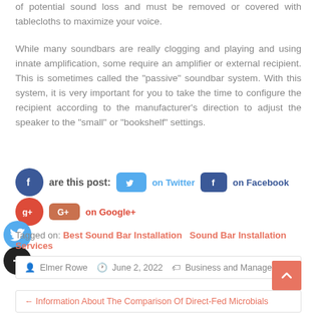of potential sound loss and must be removed or covered with tablecloths to maximize your voice.
While many soundbars are really clogging and playing and using innate amplification, some require an amplifier or external recipient. This is sometimes called the "passive" soundbar system. With this system, it is very important for you to take the time to configure the recipient according to the manufacturer's direction to adjust the speaker to the "small" or "bookshelf" settings.
Share this post: on Twitter on Facebook on Google+
Tagged on: Best Sound Bar Installation   Sound Bar Installation Services
Elmer Rowe   June 2, 2022   Business and Management
← Information About The Comparison Of Direct-Fed Microbials